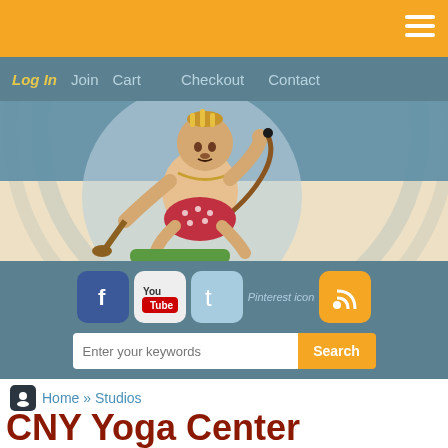[Figure (screenshot): Orange top navigation bar with hamburger menu icon (three white lines) on the right]
Log In   Join   Cart   Checkout   Contact
[Figure (illustration): CNY Yoga Center website header illustration: Hanuman deity figure sitting cross-legged holding a mace and yoga mat, set against a light blue circle on a teal-to-cream gradient background]
[Figure (screenshot): Social media icons row: Facebook, YouTube, Twitter, Pinterest icon (text), RSS feed icon on teal background]
[Figure (screenshot): Search bar with placeholder 'Enter your keywords' and orange Search button, on teal background]
Home » Studios
CNY Yoga Center